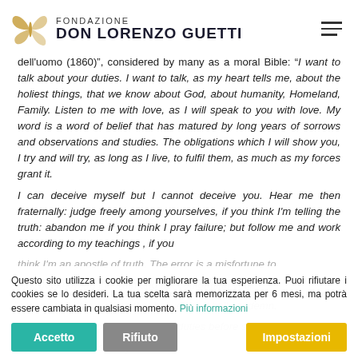Fondazione Don Lorenzo Guetti
dell'uomo (1860)", considered by many as a moral Bible: " I want to talk about your duties. I want to talk, as my heart tells me, about the holiest things, that we know about God, about humanity, Homeland, Family. Listen to me with love, as I will speak to you with love. My word is a word of belief that has matured by long years of sorrows and observations and studies. The obligations which I will show you, I try and will try, as long as I live, to fulfil them, as much as my forces grant it.
I can deceive myself but I cannot deceive you. Hear me then fraternally: judge freely among yourselves, if you think I'm telling the truth: abandon me if you think I pray failure; but follow me and work according to my teachings , if you think I'm an apostle of truth. The error is a misfortune to pity, but knowing the truth and not conforming your actions to it, it is a crime that heaven and hell condemn.
Why do I speak to you about your duties before speaking... because, in a society w... arily, oppresses y... exercise of all rights that belong to men is constantly
Questo sito utilizza i cookie per migliorare la tua esperienza. Puoi rifiutare i cookies se lo desideri. La tua scelta sarà memorizzata per 6 mesi, ma potrà essere cambiata in qualsiasi momento. Più informazioni